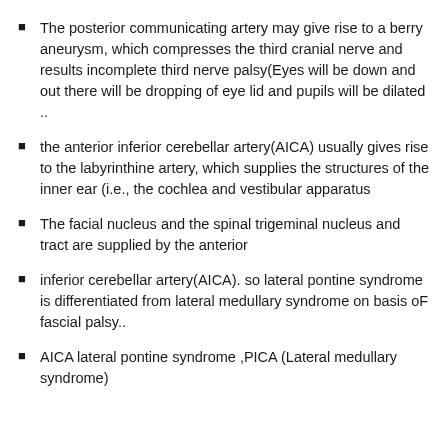The posterior communicating artery may give rise to a berry aneurysm, which compresses the third cranial nerve and results incomplete third nerve palsy(Eyes will be down and out there will be dropping of eye lid and pupils will be dilated ..
the anterior inferior cerebellar artery(AICA) usually gives rise to the labyrinthine artery, which supplies the structures of the inner ear (i.e., the cochlea and vestibular apparatus
The facial nucleus and the spinal trigeminal nucleus and tract are supplied by the anterior
inferior cerebellar artery(AICA). so lateral pontine syndrome is differentiated from lateral medullary syndrome on basis oF fascial palsy..
AICA lateral pontine syndrome ,PICA (Lateral medullary syndrome)